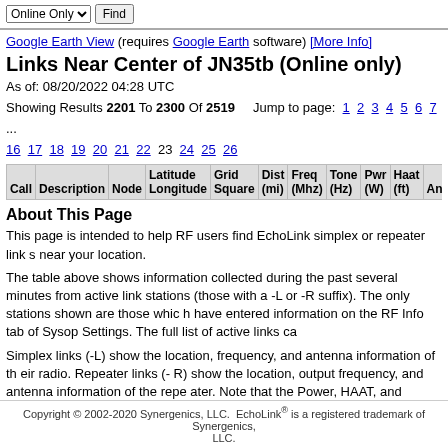Google Earth View (requires Google Earth software) [More Info]
Links Near Center of JN35tb (Online only)
As of: 08/20/2022 04:28 UTC
Showing Results 2201 To 2300 Of 2519   Jump to page: 1 2 3 4 5 6 7 ... 16 17 18 19 20 21 22 23 24 25 26
| Call | Description | Node | Latitude Longitude | Grid Square | Dist (mi) | Freq (Mhz) | Tone (Hz) | Pwr (W) | Haat (ft) | Ant |
| --- | --- | --- | --- | --- | --- | --- | --- | --- | --- | --- |
About This Page
This page is intended to help RF users find EchoLink simplex or repeater links near your location.
The table above shows information collected during the past several minutes from active link stations (those with a -L or -R suffix). The only stations shown are those which have entered information on the RF Info tab of Sysop Settings. The full list of active links can be found here.
Simplex links (-L) show the location, frequency, and antenna information of the link radio. Repeater links (-R) show the location, output frequency, and antenna information of the repeater. Note that the Power, HAAT, and Antenna columns are approximate.
Copyright © 2002-2020 Synergenics, LLC.  EchoLink® is a registered trademark of Synergenics, LLC.